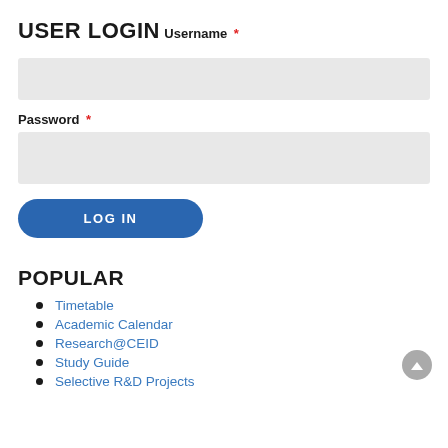USER LOGIN
Username *
[Figure (other): Username input field (empty, light gray background)]
Password *
[Figure (other): Password input field (empty, light gray background)]
LOG IN
POPULAR
Timetable
Academic Calendar
Research@CEID
Study Guide
Selective R&D Projects